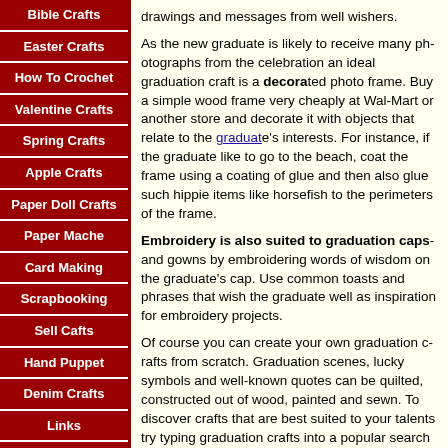Bible Crafts
Easter Crafts
How To Crochet
Valentine Crafts
Spring Crafts
Apple Crafts
Paper Doll Crafts
Paper Mache
Card Making
Scrapbooking
Sell Cafts
Hand Puppet
Denim Crafts
Links
Contact Us
drawings and messages from well wishers.
As the new graduate is likely to receive many ph... celebration an ideal graduation craft is a decorated simple wood frame very cheaply at Wal-Mart or a... decorate it with objects that relate to the graduate... For instance, if the graduate like to go to the bea... using a coating of glue and then also glue such h... horsefish to the perimeters of the frame.
Embroidery is also suited to graduation caps... embroidering words of wisdom on the graduate's... toasts and phrases that wish the graduate well a... embroidery projects.
Of course you can create your own graduation c... Graduation scenes, lucky symbols and well-kno... quilted, constructed out of wood, painted and se... crafts that are best suited to your talents try typin... popular search engine such as Yahoo or Google...
Related Articles:
Kids Crafts.
Toddler Crafts.
Preschool Crafts.